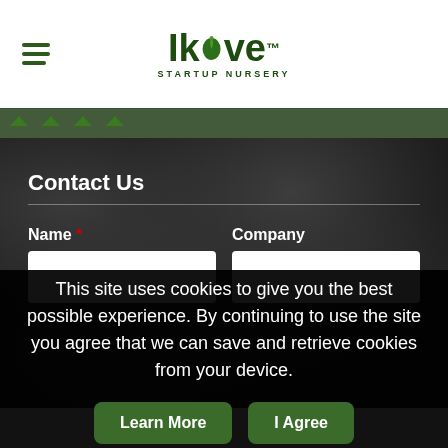[Figure (logo): Ikove Startup Nursery logo with green leaf icon and hamburger menu icon on white header background]
Contact Us
Name * Company
This site uses cookies to give you the best possible experience. By continuing to use the site you agree that we can save and retrieve cookies from your device.
Learn More | I Agree